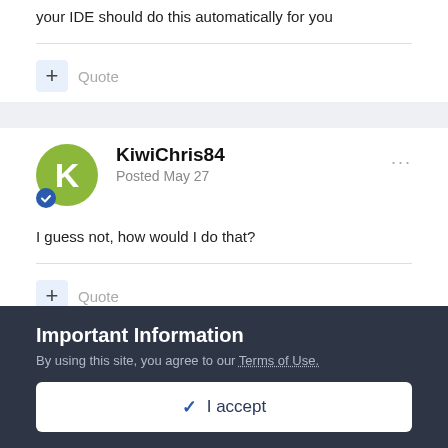your IDE should do this automatically for you
+ Quote
KiwiChris84
Posted May 27
I guess not, how would I do that?
+ Quote
Important Information
By using this site, you agree to our Terms of Use.
✓ I accept